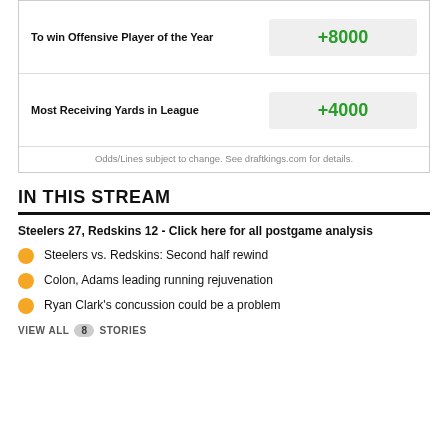|  | Odds |
| --- | --- |
| To win Offensive Player of the Year | +8000 |
| Most Receiving Yards in League | +4000 |
Odds/Lines subject to change. See draftkings.com for details.
IN THIS STREAM
Steelers 27, Redskins 12 - Click here for all postgame analysis
Steelers vs. Redskins: Second half rewind
Colon, Adams leading running rejuvenation
Ryan Clark's concussion could be a problem
VIEW ALL 8 STORIES